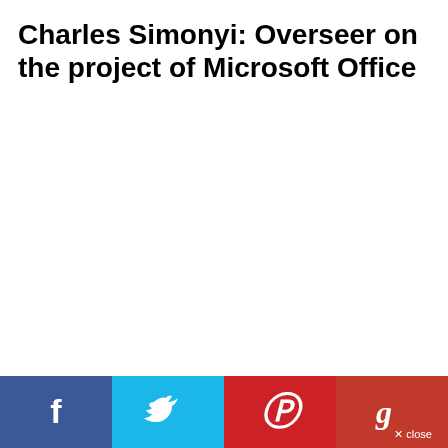Charles Simonyi: Overseer on the project of Microsoft Office
[Figure (infographic): Social sharing bar at the bottom with Facebook (dark blue), Twitter (light blue), Pinterest (red), and Google+ (dark red) buttons, each with their respective icons in white. A 'close' button with an X appears in the bottom right corner.]